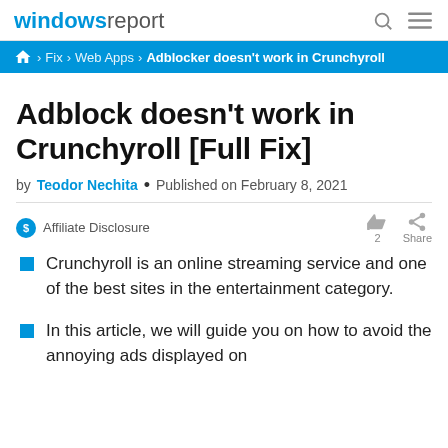windows report
› Fix › Web Apps › Adblocker doesn't work in Crunchyroll
Adblock doesn't work in Crunchyroll [Full Fix]
by Teodor Nechita • Published on February 8, 2021
Affiliate Disclosure
Crunchyroll is an online streaming service and one of the best sites in the entertainment category.
In this article, we will guide you on how to avoid the annoying ads displayed on